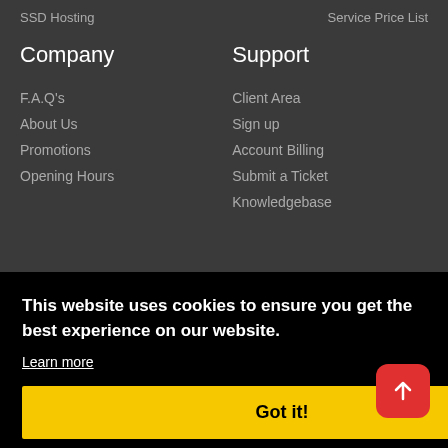SSD Hosting
Service Price List
Company
Support
F.A.Q's
Client Area
About Us
Sign up
Promotions
Account Billing
Opening Hours
Submit a Ticket
Knowledgebase
This website uses cookies to ensure you get the best experience on our website.
Learn more
Got it!